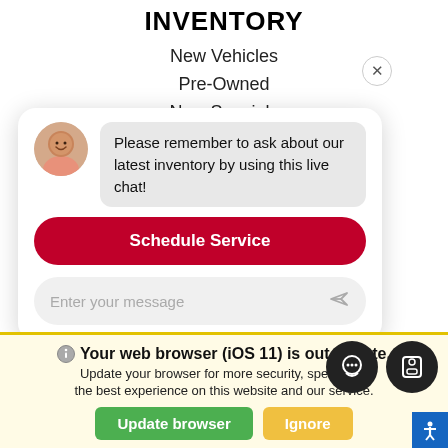INVENTORY
New Vehicles
Pre-Owned
New Specials
Specials
Nissan Dealer Near Me
[Figure (screenshot): Live chat popup with avatar of a man, message bubble saying 'Please remember to ask about our latest inventory by using this live chat!', a red 'Schedule Service' button, and a message input field saying 'Enter your message' with a send icon.]
Your web browser (iOS 11) is out of date. Update your browser for more security, speed and the best experience on this website and our service.
Update browser
Ignore